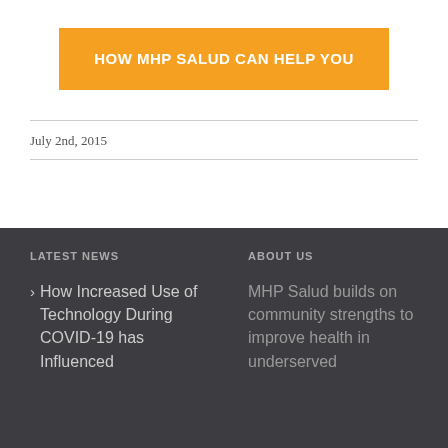HOW MHP SALUD CAN HELP YOU
July 2nd, 2015
LATEST NEWS
ABOUT US
How Increased Use of Technology During COVID-19 has Influenced
MHP Salud builds on community strengths to improve health in underserved